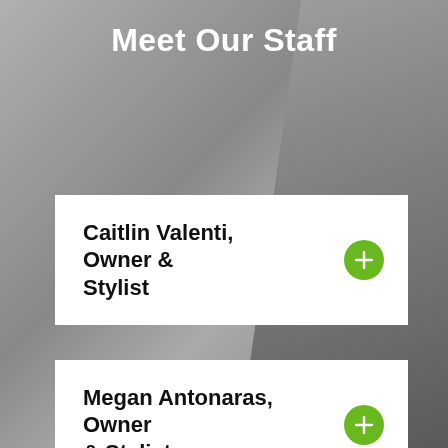Meet Our Staff
Caitlin Valenti, Owner & Stylist
Megan Antonaras, Owner & Stylist